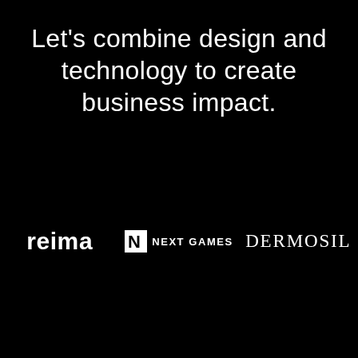Let's combine design and technology to create business impact.
[Figure (logo): Three brand logos on black background: reima (bold sans-serif), Next Games (with N icon), Dermosil (serif)]